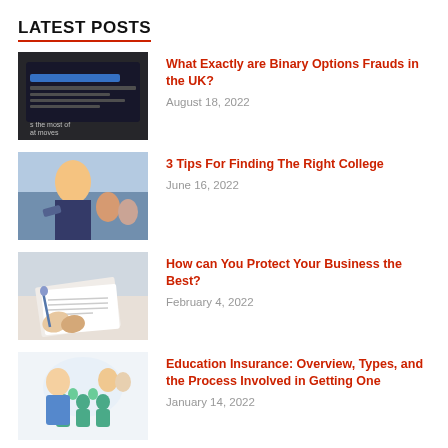LATEST POSTS
What Exactly are Binary Options Frauds in the UK? — August 18, 2022
3 Tips For Finding The Right College — June 16, 2022
How can You Protect Your Business the Best? — February 4, 2022
Education Insurance: Overview, Types, and the Process Involved in Getting One — January 14, 2022